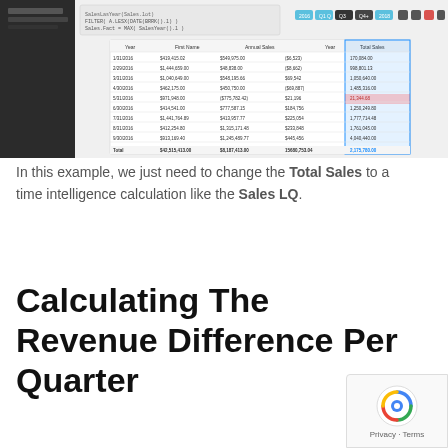[Figure (screenshot): Screenshot of a data analytics tool showing a spreadsheet/table with sales data. The interface shows colored filter buttons (years/quarters) at top right, and a highlighted column in the table. The left side shows a dark sidebar panel with code/formula text.]
In this example, we just need to change the Total Sales to a time intelligence calculation like the Sales LQ.
Calculating The Revenue Difference Per Quarter